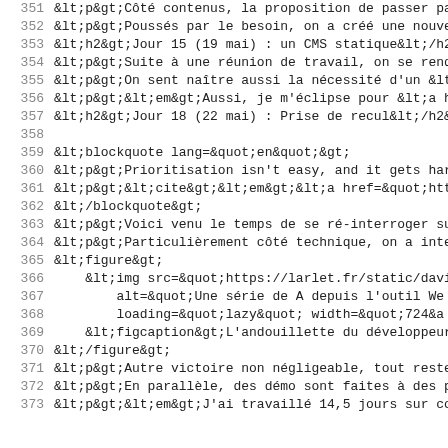351  &lt;p&gt;Côté contenus, la proposition de passer pa
352  &lt;p&gt;Poussés par le besoin, on a créé une nouve
353  &lt;h2&gt;Jour 15 (19 mai) : un CMS statique&lt;/h2
354  &lt;p&gt;Suite à une réunion de travail, on se rend
355  &lt;p&gt;On sent naître aussi la nécessité d'un &lt;
356  &lt;p&gt;&lt;em&gt;Aussi, je m'éclipse pour &lt;a h
357  &lt;h2&gt;Jour 18 (22 mai) : Prise de recul&lt;/h2
358  (empty line)
359  &lt;blockquote lang=&quot;en&quot;&gt;
360  &lt;p&gt;Prioritisation isn't easy, and it gets har
361  &lt;p&gt;&lt;cite&gt;&lt;em&gt;&lt;a href=&quot;htt
362  &lt;/blockquote&gt;
363  &lt;p&gt;Voici venu le temps de se ré-interroger su
364  &lt;p&gt;Particulièrement côté technique, on a inte
365  &lt;figure&gt;
366      &lt;img src=&quot;https://larlet.fr/static/davi
367          alt=&quot;Une série de A depuis l'outil We
368          loading=&quot;lazy&quot; width=&quot;724&amp;
369      &lt;figcaption&gt;L'andouillette du développeur
370  &lt;/figure&gt;
371  &lt;p&gt;Autre victoire non négligeable, tout reste
372  &lt;p&gt;En parallèle, des démo sont faites à des p
373  &lt;p&gt;&lt;em&gt;J'ai travaillé 14,5 jours sur co